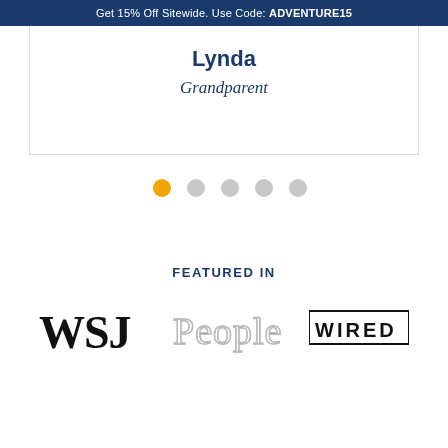Get 15% Off Sitewide. Use Code: ADVENTURE15
Lynda
Grandparent
[Figure (other): Carousel pagination dots: one orange active dot followed by four gray dots]
FEATURED IN
[Figure (logo): WSJ (Wall Street Journal) logo in large bold serif black text]
[Figure (logo): People magazine logo in outlined serif/script style]
[Figure (logo): WIRED magazine logo in bold sans-serif black text on white background with black border blocks]